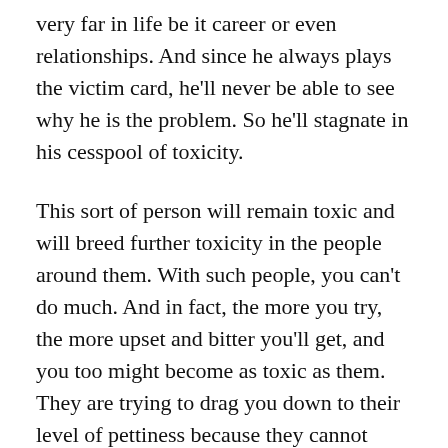very far in life be it career or even relationships. And since he always plays the victim card, he'll never be able to see why he is the problem. So he'll stagnate in his cesspool of toxicity.
This sort of person will remain toxic and will breed further toxicity in the people around them. With such people, you can't do much. And in fact, the more you try, the more upset and bitter you'll get, and you too might become as toxic as them. They are trying to drag you down to their level of pettiness because they cannot understand how people can be better than them. You know you've allowed yourself to be dragged into their cesspool of toxicity when you begin thinking that getting away from such people is an